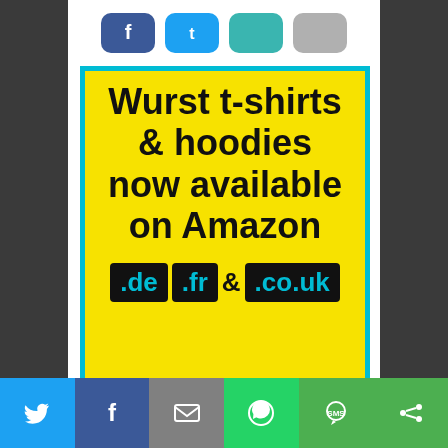[Figure (infographic): Advertisement banner: yellow background with cyan border. Text reads 'Wurst t-shirts & hoodies now available on Amazon .de .fr & .co.uk' with domain extensions in cyan on black pill backgrounds.]
[Figure (infographic): Social share bar at the bottom with Twitter (blue), Facebook (dark blue), Email (grey), WhatsApp (green), SMS (green), and another green icon button.]